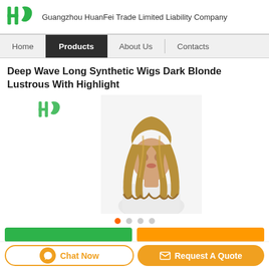[Figure (logo): Guangzhou HuanFei Trade company green logo with stylized HF letters]
Guangzhou HuanFei Trade Limited Liability Company
Home | Products | About Us | Contacts
Deep Wave Long Synthetic Wigs Dark Blonde Lustrous With Highlight
[Figure (photo): Mannequin wearing a deep wave long synthetic dark blonde wig with highlights]
Chat Now
Request A Quote